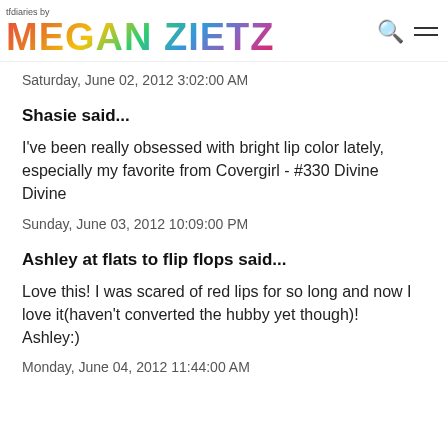tfdiaries by MEGAN ZIETZ
Saturday, June 02, 2012 3:02:00 AM
Shasie said...
I've been really obsessed with bright lip color lately, especially my favorite from Covergirl - #330 Divine Divine
Sunday, June 03, 2012 10:09:00 PM
Ashley at flats to flip flops said...
Love this! I was scared of red lips for so long and now I love it(haven't converted the hubby yet though)!
Ashley:)
Monday, June 04, 2012 11:44:00 AM